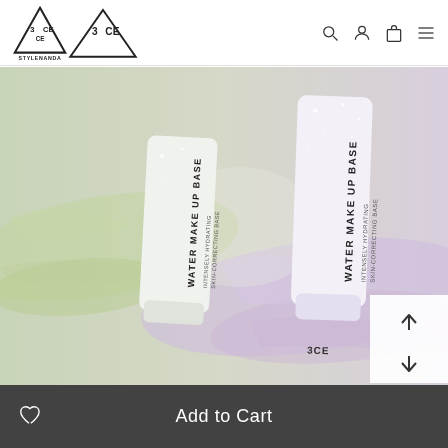[Figure (logo): 3CE STYLENANDA triangular logo in top left corner]
[Figure (photo): Product photo of two 3CE WATER MAKE UP BASE tubes on a light green/lavender background with cream swatches. Left tube is green-tinted, right tube is lavender/pink tinted. Both tubes are white with black text reading WATER MAKE UP BASE and smaller subtitle text, with 3CE branding.]
Add to Cart